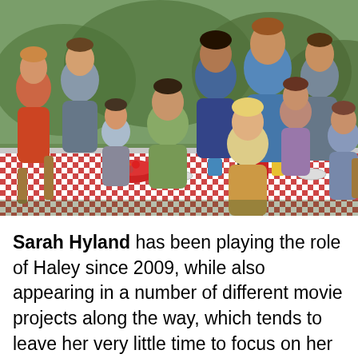[Figure (photo): Group photo of the Modern Family TV show cast sitting and standing around an outdoor picnic table with a red and white checkered tablecloth. Multiple adults and children posed together with a green outdoor background.]
Sarah Hyland has been playing the role of Haley since 2009, while also appearing in a number of different movie projects along the way, which tends to leave her very little time to focus on her hobbies. For those of you who did not know, Sarah loves to dance and she loves to share pictures and